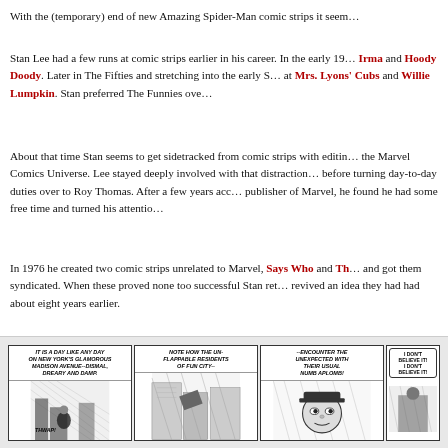With the (temporary) end of new Amazing Spider-Man comic strips it seem…
Stan Lee had a few runs at comic strips earlier in his career. In the early 19… Irma and Hoody Doody. Later in The Fifties and stretching into the early S… at Mrs. Lyons' Cubs and Willie Lumpkin. Stan preferred The Funnies ove…
About that time Stan seems to get sidetracked from comic strips with editin… the Marvel Comics Universe. Lee stayed deeply involved with that distraction… before turning day-to-day duties over to Roy Thomas. After a few years acc… publisher of Marvel, he found he had some free time and turned his attentio…
In 1976 he created two comic strips unrelated to Marvel, Says Who and Th… and got them syndicated. When these proved none too successful Stan ret… revived an idea they had had about eight years earlier.
[Figure (illustration): Four black and white comic strip panels. Panel 1 caption: 'It is a day like any day on New York's glamorous Madison Avenue--dismal, dreary and damp.' Shows a man walking in rain. Panel 2 caption: 'Note how the unflappable residents of Fun City--' Shows city scene with falling objects. Panel 3 caption: '--encounter the unexpected with their usual numb aplomb!' Shows a person reacting. Panel 4 has speech bubble: 'I don't believe it! I don't believe it!' and partial text 'NE…']